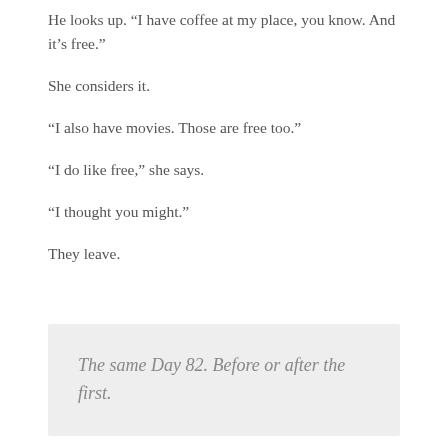He looks up. “I have coffee at my place, you know. And it’s free.”
She considers it.
“I also have movies. Those are free too.”
“I do like free,” she says.
“I thought you might.”
They leave.
The same Day 82. Before or after the first.